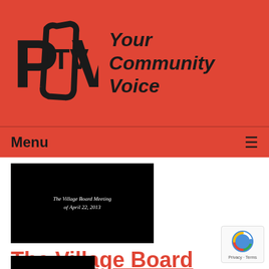[Figure (logo): PCTV logo with text 'Your Community Voice' on red banner background]
Menu
[Figure (screenshot): Black video thumbnail showing 'The Village Board Meeting of April 22, 2013' in white italic text]
The Village Board Meeting of 04-22-13
Airdate: 04/22/2013
Watched: 20 times